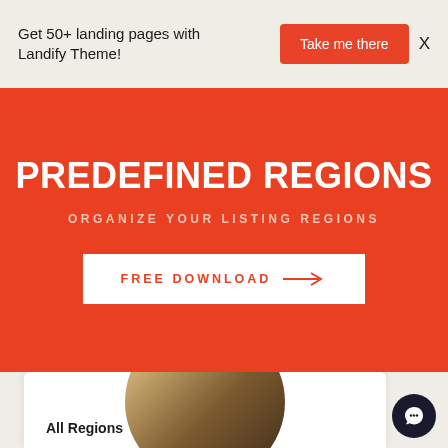Get 50+ landing pages with Landify Theme!
Take me there
PREDEFINED REGIONS
ORGANIZE YOUR LISTING REGIONS
FREE DOWNLOAD →
[Figure (screenshot): Bottom preview card showing 'All Regions' label with a circular image and dark chat bubble icon]
All Regions